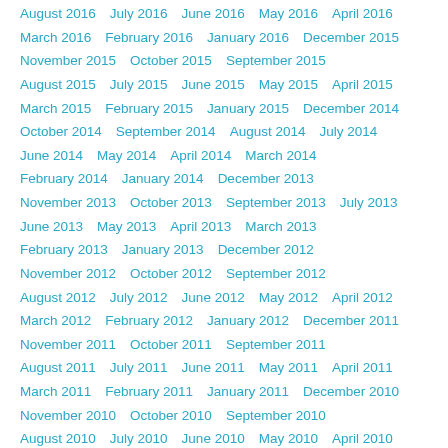August 2016   July 2016   June 2016   May 2016   April 2016
March 2016   February 2016   January 2016   December 2015
November 2015   October 2015   September 2015
August 2015   July 2015   June 2015   May 2015   April 2015
March 2015   February 2015   January 2015   December 2014
October 2014   September 2014   August 2014   July 2014
June 2014   May 2014   April 2014   March 2014
February 2014   January 2014   December 2013
November 2013   October 2013   September 2013   July 2013
June 2013   May 2013   April 2013   March 2013
February 2013   January 2013   December 2012
November 2012   October 2012   September 2012
August 2012   July 2012   June 2012   May 2012   April 2012
March 2012   February 2012   January 2012   December 2011
November 2011   October 2011   September 2011
August 2011   July 2011   June 2011   May 2011   April 2011
March 2011   February 2011   January 2011   December 2010
November 2010   October 2010   September 2010
August 2010   July 2010   June 2010   May 2010   April 2010